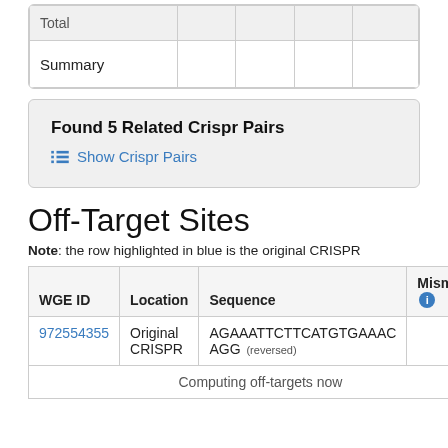|  |  |  |  |  |
| --- | --- | --- | --- | --- |
| Total |  |  |  |  |
| Summary |  |  |  |  |
Found 5 Related Crispr Pairs
Show Crispr Pairs
Off-Target Sites
Note: the row highlighted in blue is the original CRISPR
| WGE ID | Location | Sequence | Mismatch |
| --- | --- | --- | --- |
| 972554355 | Original CRISPR | AGAAATTCTTCATGTGAAACAGG (reversed) |  |
|  | Computing off-targets now |  |  |